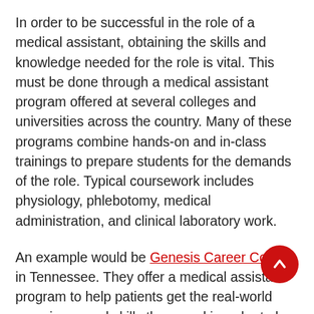In order to be successful in the role of a medical assistant, obtaining the skills and knowledge needed for the role is vital. This must be done through a medical assistant program offered at several colleges and universities across the country. Many of these programs combine hands-on and in-class trainings to prepare students for the demands of the role. Typical coursework includes physiology, phlebotomy, medical administration, and clinical laboratory work.
An example would be Genesis Career College in Tennessee. They offer a medical assistant program to help patients get the real-world experience and skills they need in order to be successful in their future roles. One of the major ways they do this is through an externship program